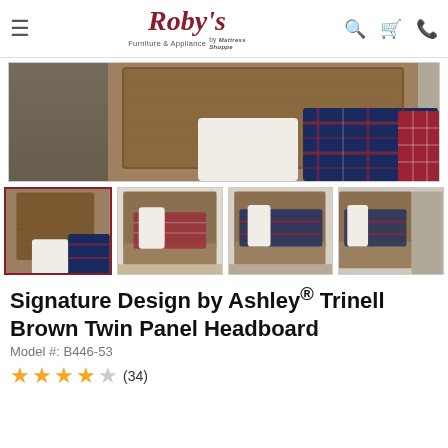[Figure (logo): Roby's Furniture & Appliance by Mattress Shoppe logo in dark red italic script]
[Figure (photo): Close-up photo of a wooden panel headboard with navy and red plaid pillows and bedding]
[Figure (photo): Thumbnail 1: Close-up of wooden headboard with white pillow and plaid bedding (active/selected)]
[Figure (photo): Thumbnail 2: Full bed view with headboard and footboard, plaid bedding]
[Figure (photo): Thumbnail 3: Full bed view from different angle with plaid bedding]
[Figure (photo): Thumbnail 4: Partial view of bed and furniture]
Signature Design by Ashley® Trinell Brown Twin Panel Headboard
Model #: B446-53
4 stars (34 reviews)